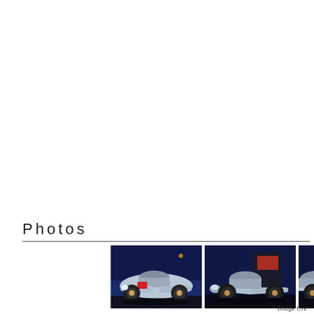Photos
[Figure (photo): Three photos of a light blue custom hot rod / concept car displayed in what appears to be a dark exhibition hall with blue lighting. The car has a classic roadster body style with large exposed wheels and a rounded front end. The first photo shows the car from a front-right angle with a red element on the hood. The second shows a different angle. The third is partially visible.]
Image Cre